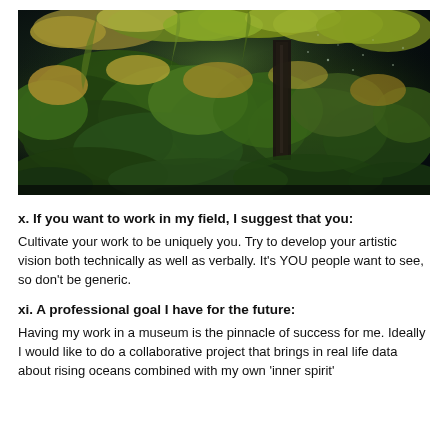[Figure (photo): Aerial or close-up photograph of an overgrown abandoned structure or ruin, covered with dense green and golden-yellow vegetation/moss, set against a dark background.]
x. If you want to work in my field, I suggest that you:
Cultivate your work to be uniquely you. Try to develop your artistic vision both technically as well as verbally. It's YOU people want to see, so don't be generic.
xi. A professional goal I have for the future:
Having my work in a museum is the pinnacle of success for me. Ideally I would like to do a collaborative project that brings in real life data about rising oceans combined with my own 'inner spirit'